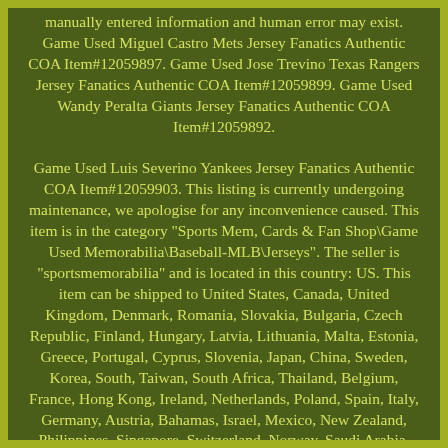manually entered information and human error may exist. Game Used Miguel Castro Mets Jersey Fanatics Authentic COA Item#12059897. Game Used Jose Trevino Texas Rangers Jersey Fanatics Authentic COA Item#12059899. Game Used Wandy Peralta Giants Jersey Fanatics Authentic COA Item#12059892.

Game Used Luis Severino Yankees Jersey Fanatics Authentic COA Item#12059903. This listing is currently undergoing maintenance, we apologise for any inconvenience caused. This item is in the category "Sports Mem, Cards & Fan Shop\Game Used Memorabilia\Baseball-MLB\Jerseys". The seller is "sportsmemorabilia" and is located in this country: US. This item can be shipped to United States, Canada, United Kingdom, Denmark, Romania, Slovakia, Bulgaria, Czech Republic, Finland, Hungary, Latvia, Lithuania, Malta, Estonia, Greece, Portugal, Cyprus, Slovenia, Japan, China, Sweden, Korea, South, Taiwan, South Africa, Thailand, Belgium, France, Hong Kong, Ireland, Netherlands, Poland, Spain, Italy, Germany, Austria, Bahamas, Israel, Mexico, New Zealand, Philippines, Singapore, Switzerland, Norway, Saudi Arabia, United